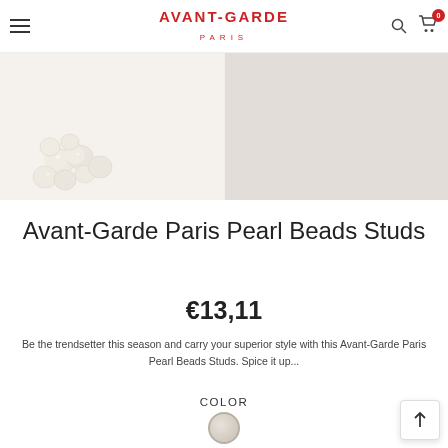AVANT-GARDE PARIS — Navigation bar with hamburger menu, logo, search and cart icons
[Figure (photo): Two-panel product image: left panel shows pearl bead earrings cluster on white background, right panel shows a plain light grey background]
Avant-Garde Paris Pearl Beads Studs
€13,11
Be the trendsetter this season and carry your superior style with this Avant-Garde Paris Pearl Beads Studs. Spice it up...
COLOR
[Figure (other): A single circular color swatch in light beige/pearl color]
SIZE